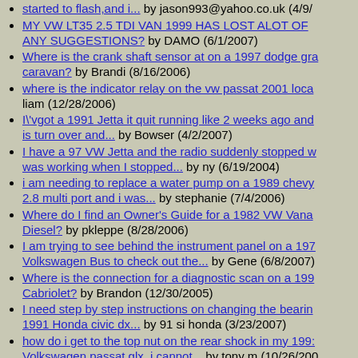started to flash,and i... by jason993@yahoo.co.uk (4/9/...)
MY VW LT35 2.5 TDI VAN 1999 HAS LOST ALOT OF ... ANY SUGGESTIONS? by DAMO (6/1/2007)
Where is the crank shaft sensor at on a 1997 dodge grand caravan? by Brandi (8/16/2006)
where is the indicator relay on the vw passat 2001 loca... by liam (12/28/2006)
I'vgot a 1991 Jetta it quit running like 2 weeks ago and... is turn over and... by Bowser (4/2/2007)
I have a 97 VW Jetta and the radio suddenly stopped w... was working when I stopped... by ny (6/19/2004)
i am needing to replace a water pump on a 1989 chevy... 2.8 multi port and i was... by stephanie (7/4/2006)
Where do I find an Owner's Guide for a 1982 VW Vana... Diesel? by pkleppe (8/28/2006)
I am trying to see behind the instrument panel on a 197... Volkswagen Bus to check out the... by Gene (6/8/2007)
Where is the connection for a diagnostic scan on a 199... Cabriolet? by Brandon (12/30/2005)
I need step by step instructions on changing the bearin... 1991 Honda civic dx... by 91 si honda (3/23/2007)
how do i get to the top nut on the rear shock in my 199... Volkswagen passat glx. i cannot... by tony m (10/26/200...)
Does a 1978 Audi automatic transmission have a filter. (10/26/2003)